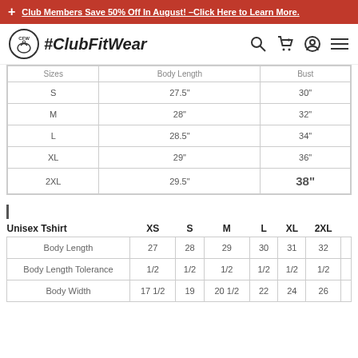+ Club Members Save 50% Off In August! -Click Here to Learn More.
[Figure (logo): ClubFitWear logo with kettlebell icon and #ClubFitWear text, plus navigation icons]
| Sizes | Body Length | Bust |
| --- | --- | --- |
| S | 27.5" | 30" |
| M | 28" | 32" |
| L | 28.5" | 34" |
| XL | 29" | 36" |
| 2XL | 29.5" | 38" |
| Unisex Tshirt | XS | S | M | L | XL | 2XL |
| --- | --- | --- | --- | --- | --- | --- |
| Body Length | 27 | 28 | 29 | 30 | 31 | 32 |
| Body Length Tolerance | 1/2 | 1/2 | 1/2 | 1/2 | 1/2 | 1/2 |
| Body Width | 17 1/2 | 19 | 20 1/2 | 22 | 24 | 26 |